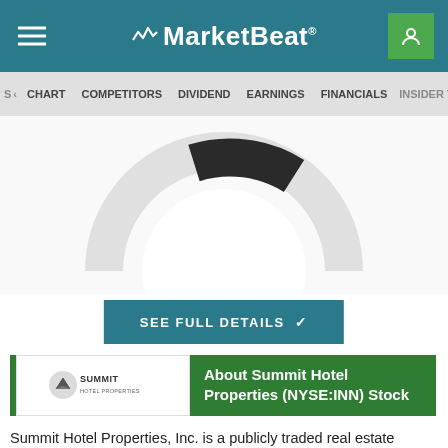MarketBeat
S  CHART  COMPETITORS  DIVIDEND  EARNINGS  FINANCIALS  INSIDER TR
[Figure (other): Partial donut/gauge chart showing stock analyst rating for Summit Hotel Properties (NYSE:INN), only upper portion visible]
SEE FULL DETAILS
About Summit Hotel Properties (NYSE:INN) Stock
Summit Hotel Properties, Inc. is a publicly traded real estate investment trust focused on owning premium-branded hotels with efficient operating models primarily in the Upscale segment of the lodging industry. As of November 3,